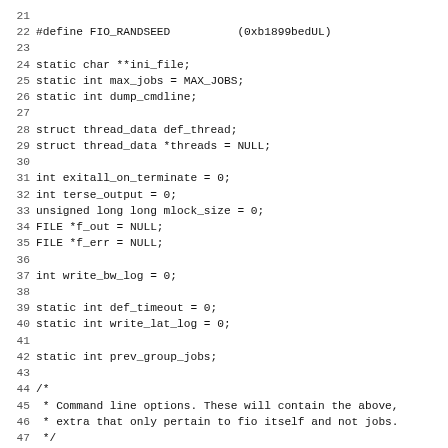Code listing lines 21-52: C source code defining FIO_RANDSEED, static variables, struct declarations, and long_options array initialization.